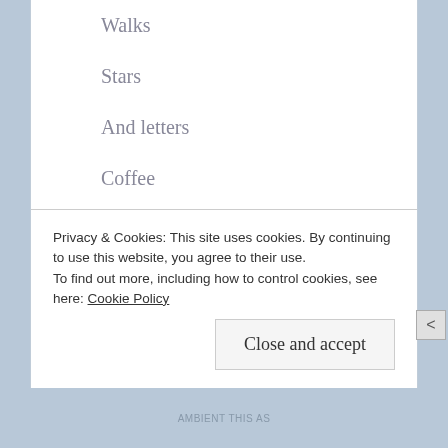Walks
Stars
And letters
Coffee
Tea
Wheat
Privacy & Cookies: This site uses cookies. By continuing to use this website, you agree to their use.
To find out more, including how to control cookies, see here: Cookie Policy
Close and accept